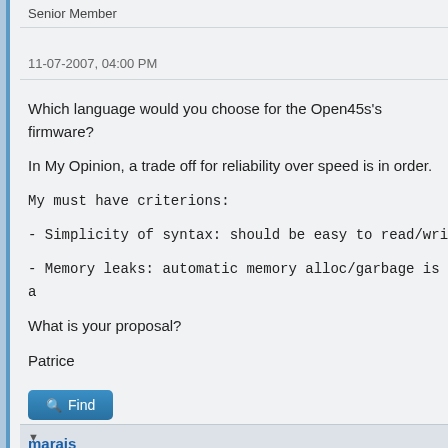Senior Member
11-07-2007, 04:00 PM
Which language would you choose for the Open45s's firmware?
In My Opinion, a trade off for reliability over speed is in order.
My must have criterions:
- Simplicity of syntax: should be easy to read/wri...
- Memory leaks: automatic memory alloc/garbage is a...
What is your proposal?
Patrice
Find
marais